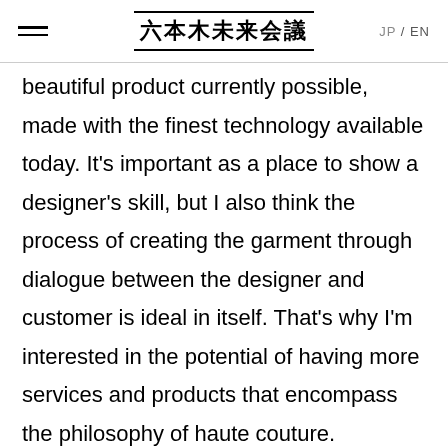六本木未来会議  JP / EN
beautiful product currently possible, made with the finest technology available today. It's important as a place to show a designer's skill, but I also think the process of creating the garment through dialogue between the designer and customer is ideal in itself. That's why I'm interested in the potential of having more services and products that encompass the philosophy of haute couture. Updating just one section of the clothes-making process won't result in much change, so this will require a comprehensive overhaul. It's the designer's role to act as a bridge in that updating process, and I hope